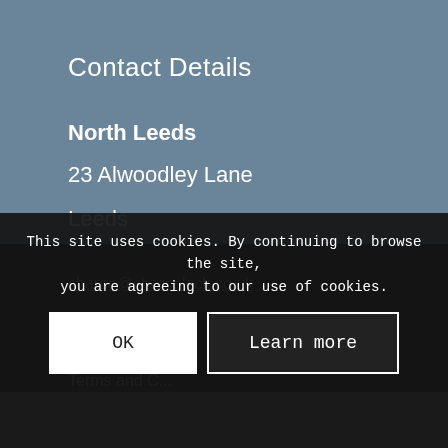Contact Details
North Leeds
23 Alwoodley Lane
Leeds
LS17 7PU
Links
sharon@sharonlock.co.uk
Privacy Policy
Terms and C...
This site uses cookies. By continuing to browse the site, you are agreeing to our use of cookies.